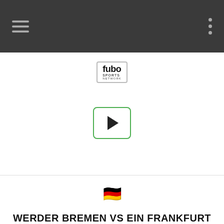[Figure (screenshot): Navigation bar with hamburger menu on left and dots menu on right, dark gray background]
[Figure (logo): fubo SPORTS NETWORK logo in rounded rectangle border]
[Figure (other): Play button with green border]
[Figure (other): German flag emoji]
WERDER BREMEN VS EIN FRANKFURT
[Figure (other): Red LIVE badge with dot and fubo SPORTS NETWORK logo]
[Figure (other): Play button with green border]
[Figure (other): Italian flag emoji]
VERONA VS ATALANTA
[Figure (other): Red LIVE badge with dot and fubo logo partially visible]